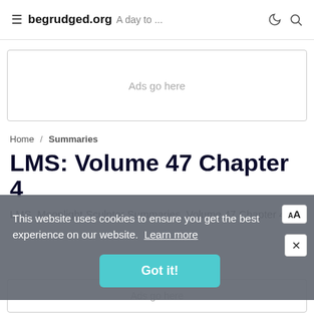≡ begrudged.org A day to ...
[Figure (other): Advertisement placeholder box labeled 'Ads go here']
Home / Summaries
LMS: Volume 47 Chapter 4
LMS, Moonlight Sculptor Summaries, Volume 47 Chapter 4.
This website uses cookies to ensure you get the best experience on our website. Learn more
Got it!
[Figure (other): Advertisement placeholder box labeled 'Ads go here']